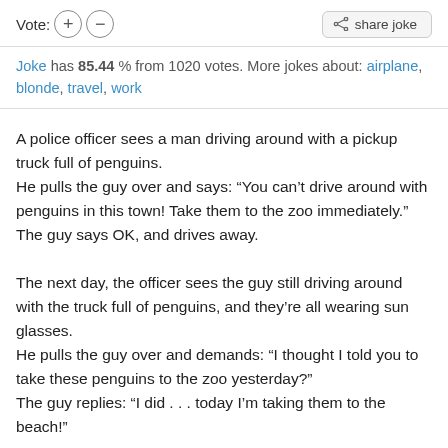Vote: [+] [-]   share joke
Joke has 85.44 % from 1020 votes. More jokes about: airplane, blonde, travel, work
A police officer sees a man driving around with a pickup truck full of penguins.
He pulls the guy over and says: “You can’t drive around with penguins in this town! Take them to the zoo immediately.”
The guy says OK, and drives away.

The next day, the officer sees the guy still driving around with the truck full of penguins, and they’re all wearing sun glasses.
He pulls the guy over and demands: “I thought I told you to take these penguins to the zoo yesterday?”
The guy replies: “I did . . . today I’m taking them to the beach!”
Vote: [+] [-]   share joke